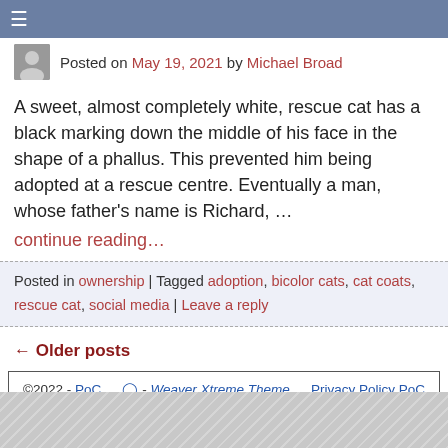≡
Posted on May 19, 2021 by Michael Broad
A sweet, almost completely white, rescue cat has a black marking down the middle of his face in the shape of a phallus. This prevented him being adopted at a rescue centre. Eventually a man, whose father's name is Richard, …
continue reading…
Posted in ownership | Tagged adoption, bicolor cats, cat coats, rescue cat, social media | Leave a reply
← Older posts
©2022 - PoC  ⊕ - Weaver Xtreme Theme   Privacy Policy PoC